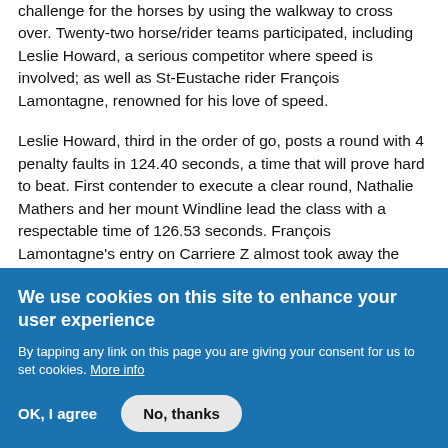challenge for the horses by using the walkway to cross over. Twenty-two horse/rider teams participated, including Leslie Howard, a serious competitor where speed is involved; as well as St-Eustache rider François Lamontagne, renowned for his love of speed.
Leslie Howard, third in the order of go, posts a round with 4 penalty faults in 124.40 seconds, a time that will prove hard to beat. First contender to execute a clear round, Nathalie Mathers and her mount Windline lead the class with a respectable time of 126.53 seconds. François Lamontagne's entry on Carriere Z almost took away the lead, posting the best time without penalty faults, until an unfortunate bar fell 2/3 into his round. With 119.38 seconds, he was at the
We use cookies on this site to enhance your user experience
By tapping any link on this page you are giving your consent for us to set cookies. More info
OK, I agree  No, thanks